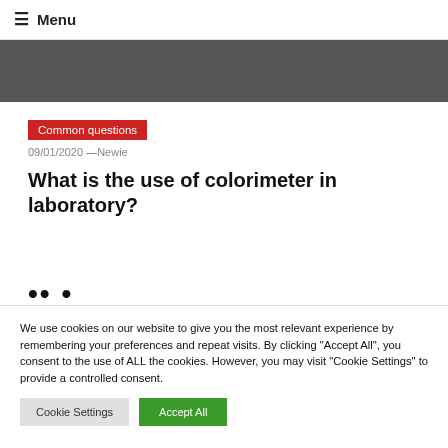≡ Menu
Common questions
09/01/2020 —Newie
What is the use of colorimeter in laboratory?
We use cookies on our website to give you the most relevant experience by remembering your preferences and repeat visits. By clicking "Accept All", you consent to the use of ALL the cookies. However, you may visit "Cookie Settings" to provide a controlled consent.
Cookie Settings | Accept All